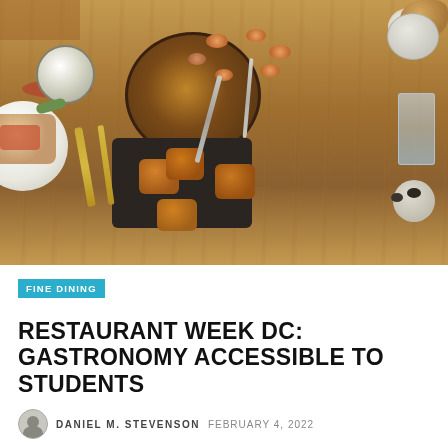[Figure (photo): Overhead view of a restaurant table with various Spanish tapas dishes including a paella pan with shrimp and mussels, fried croquettes on a dark tray, bread, olives, a white cup, water glass, and golden cutlery on a wooden table]
FINE DINING
RESTAURANT WEEK DC: GASTRONOMY ACCESSIBLE TO STUDENTS
DANIEL M. STEVENSON   FEBRUARY 4, 2022